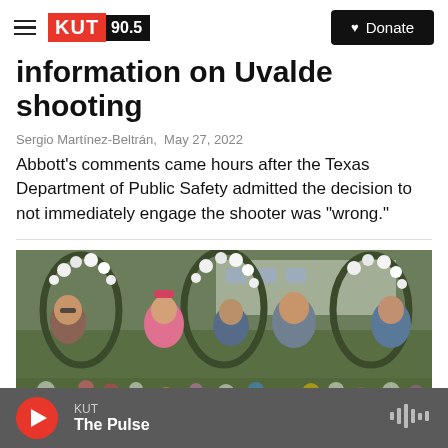KUT 90.5 | Donate
information on Uvalde shooting
Sergio Martínez-Beltrán,  May 27, 2022
Abbott's comments came hours after the Texas Department of Public Safety admitted the decision to not immediately engage the shooter was "wrong."
[Figure (photo): Children standing among floral memorial wreaths at an outdoor vigil, with white roses and colorful flowers in the foreground]
KUT — The Pulse (audio player bar)